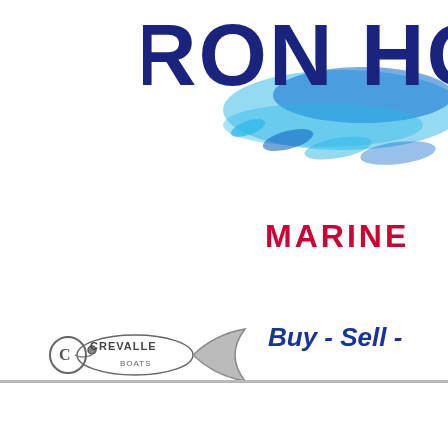[Figure (logo): RON HO... Marine company logo with blue splash/water graphic, partially cropped at right edge]
MARINE
[Figure (logo): Crevalle Boats logo with fish graphic]
Buy  -  Sell  -
[Figure (logo): Crownline boats logo with golden leaf/sail icon]
Located at the
I-45 and Harb
in Galves
[Figure (logo): Majek Boats logo with red and blue stylized text]
For all your Boating needs, Call Bra
ALL ABOUT TH